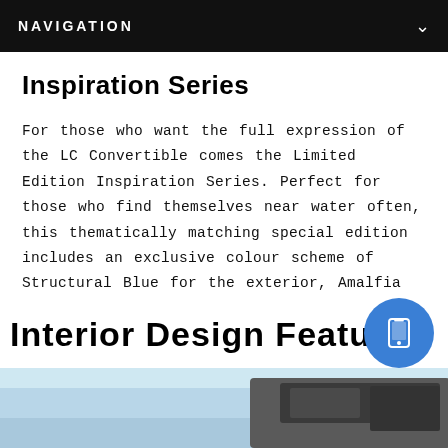NAVIGATION
Inspiration Series
For those who want the full expression of the LC Convertible comes the Limited Edition Inspiration Series. Perfect for those who find themselves near water often, this thematically matching special edition includes an exclusive colour scheme of Structural Blue for the exterior, Amalfia White for the interior with a Marine top.
Interior Design Features
[Figure (photo): Partial view of a car interior showing light blue sky background and dark interior trim/roof element at bottom right of page.]